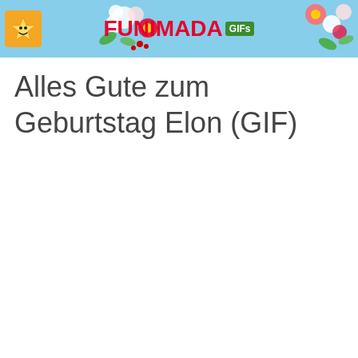FUNIMADA GIFs
Alles Gute zum Geburtstag Elon (GIF)